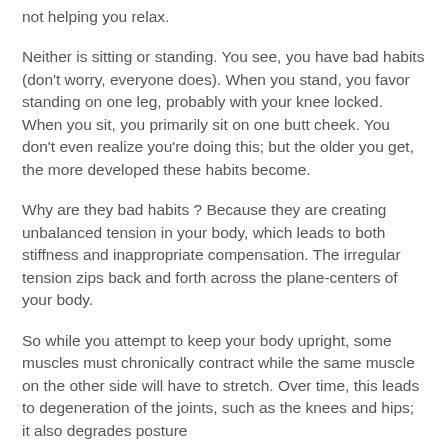not helping you relax.
Neither is sitting or standing. You see, you have bad habits (don't worry, everyone does). When you stand, you favor standing on one leg, probably with your knee locked. When you sit, you primarily sit on one butt cheek. You don't even realize you're doing this; but the older you get, the more developed these habits become.
Why are they bad habits ? Because they are creating unbalanced tension in your body, which leads to both stiffness and inappropriate compensation. The irregular tension zips back and forth across the plane-centers of your body.
So while you attempt to keep your body upright, some muscles must chronically contract while the same muscle on the other side will have to stretch. Over time, this leads to degeneration of the joints, such as the knees and hips; it also degrades posture